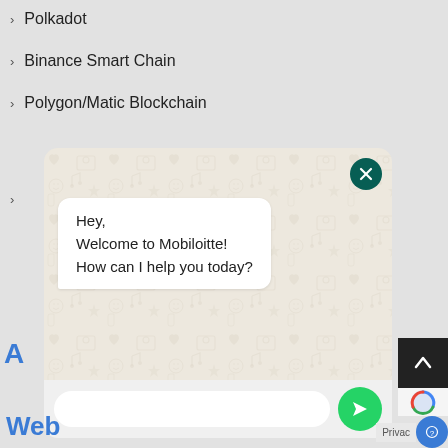Polkadot
Binance Smart Chain
Polygon/Matic Blockchain
[Figure (screenshot): WhatsApp chat widget showing a welcome message: Hey, Welcome to Mobiloitte! How can I help you today? The widget has a green close button, a chat input field and a green send button.]
Web